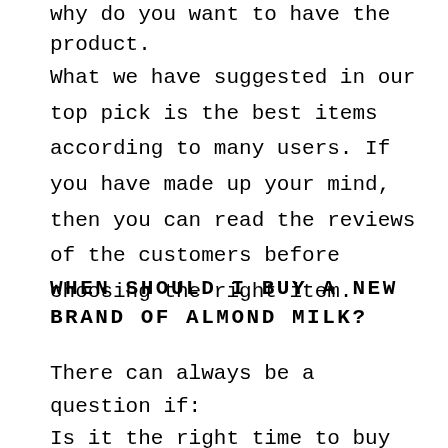why do you want to have the product.
What we have suggested in our top pick is the best items according to many users. If you have made up your mind, then you can read the reviews of the customers before choosing the right item.
WHEN SHOULD I BUY A NEW BRAND OF ALMOND MILK?
There can always be a question if:
Is it the right time to buy the brand of almond milk, or you should wait for few times to see